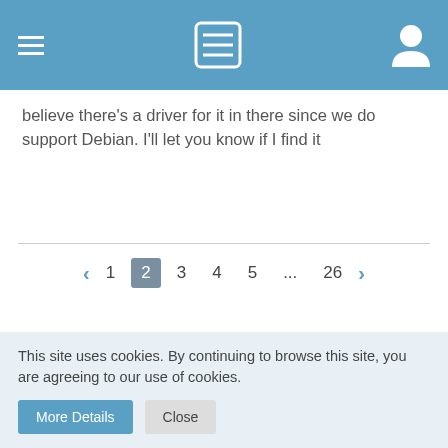Navigation bar with menu icon, list icon, and user icon
believe there's a driver for it in there since we do support Debian. I'll let you know if I find it
< 1 2 3 4 5 ... 26 >
Participate now!
Don't have an account yet? Register yourself now and be a part of our community!
REGISTER YOURSELF
This site uses cookies. By continuing to browse this site, you are agreeing to our use of cookies.
More Details  Close